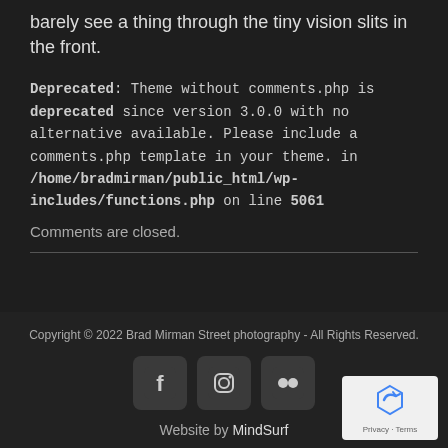barely see a thing through the tiny vision slits in the front.
Deprecated: Theme without comments.php is deprecated since version 3.0.0 with no alternative available. Please include a comments.php template in your theme. in /home/bradmirman/public_html/wp-includes/functions.php on line 5061
Comments are closed.
Copyright © 2022 Brad Mirman Street photography - All Rights Reserved.
Website by MindSurf